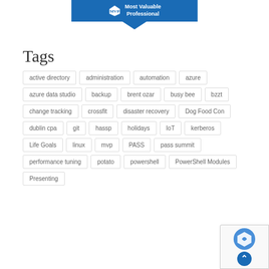[Figure (logo): Microsoft MVP Most Valuable Professional blue banner with chevron arrow pointing down]
Tags
active directory
administration
automation
azure
azure data studio
backup
brent ozar
busy bee
bzzt
change tracking
crossfit
disaster recovery
Dog Food Con
dublin cpa
git
hassp
holidays
IoT
kerberos
Life Goals
linux
mvp
PASS
pass summit
performance tuning
potato
powershell
PowerShell Modules
Presenting